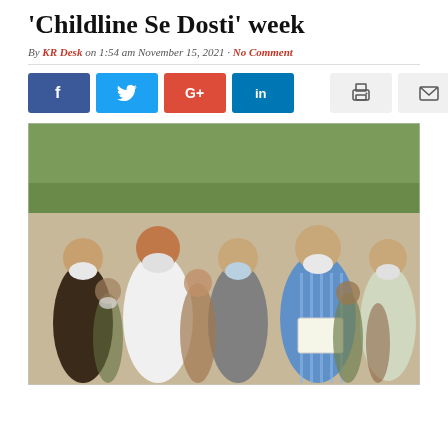'Childline Se Dosti' week
By KR Desk on 1:54 am November 15, 2021 · No Comment
[Figure (photo): Group of people outdoors wearing face masks, one person in blue striped shirt holding papers, surrounded by others in a field/outdoor setting with trees in background.]